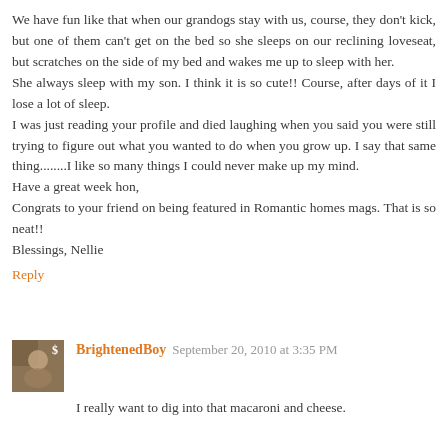We have fun like that when our grandogs stay with us, course, they don't kick, but one of them can't get on the bed so she sleeps on our reclining loveseat, but scratches on the side of my bed and wakes me up to sleep with her.
She always sleep with my son. I think it is so cute!! Course, after days of it I lose a lot of sleep.
I was just reading your profile and died laughing when you said you were still trying to figure out what you wanted to do when you grow up. I say that same thing........I like so many things I could never make up my mind.
Have a great week hon,
Congrats to your friend on being featured in Romantic homes mags. That is so neat!!
Blessings, Nellie
Reply
BrightenedBoy September 20, 2010 at 3:35 PM
I really want to dig into that macaroni and cheese.